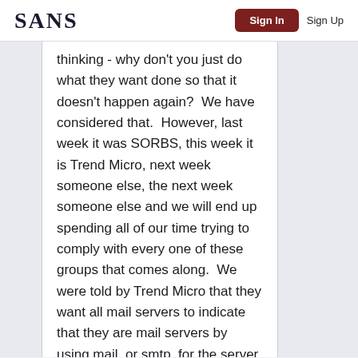SANS | Sign In | Sign Up
thinking - why don't you just do what they want done so that it doesn't happen again?  We have considered that.  However, last week it was SORBS, this week it is Trend Micro, next week someone else, the next week someone else and we will end up spending all of our time trying to comply with every one of these groups that comes along.  We were told by Trend Micro that they want all mail servers to indicate that they are mail servers by using mail. or smtp. for the server names.  We don't control our customers mail